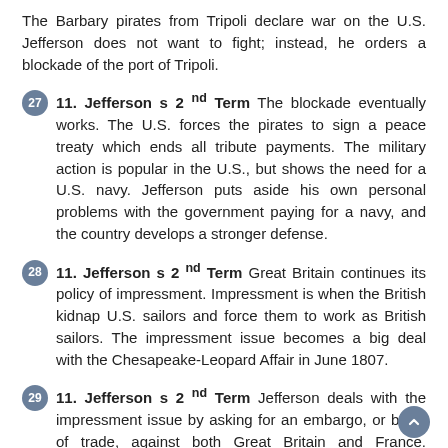The Barbary pirates from Tripoli declare war on the U.S. Jefferson does not want to fight; instead, he orders a blockade of the port of Tripoli.
27  11. Jefferson s 2 nd Term The blockade eventually works. The U.S. forces the pirates to sign a peace treaty which ends all tribute payments. The military action is popular in the U.S., but shows the need for a U.S. navy. Jefferson puts aside his own personal problems with the government paying for a navy, and the country develops a stronger defense.
28  11. Jefferson s 2 nd Term Great Britain continues its policy of impressment. Impressment is when the British kidnap U.S. sailors and force them to work as British sailors. The impressment issue becomes a big deal with the Chesapeake-Leopard Affair in June 1807.
29  11. Jefferson s 2 nd Term Jefferson deals with the impressment issue by asking for an embargo, or block of trade, against both Great Britain and France. Congress passes the Embargo Act of The main victim of the law was either Great Britain or France, it was the U.S. merchants...